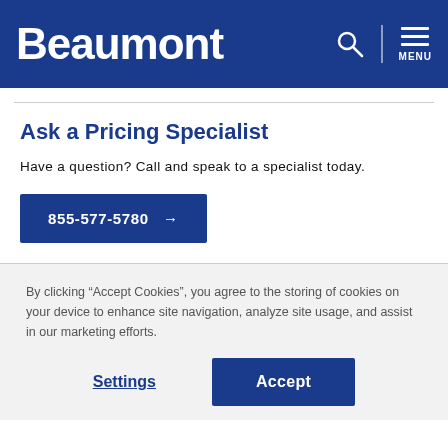Beaumont
Ask a Pricing Specialist
Have a question? Call and speak to a specialist today.
855-577-5780 →
By clicking “Accept Cookies”, you agree to the storing of cookies on your device to enhance site navigation, analyze site usage, and assist in our marketing efforts.
Settings  Accept